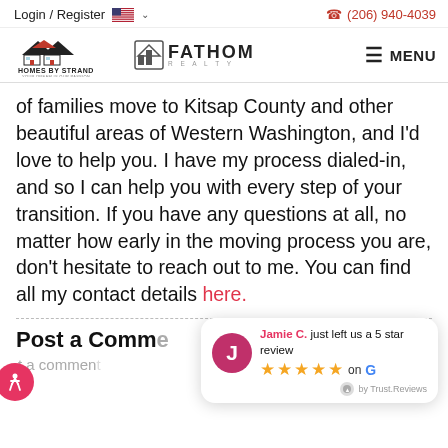Login / Register  (206) 940-4039
[Figure (logo): Homes By Strand / Fathom Realty logo and MENU navigation bar]
of families move to Kitsap County and other beautiful areas of Western Washington, and I'd love to help you. I have my process dialed-in, and so I can help you with every step of your transition. If you have any questions at all, no matter how early in the moving process you are, don't hesitate to reach out to me. You can find all my contact details here.
Post a Comme
t a comment
Jamie C. just left us a 5 star review ★★★★★ on G  by Trust.Reviews